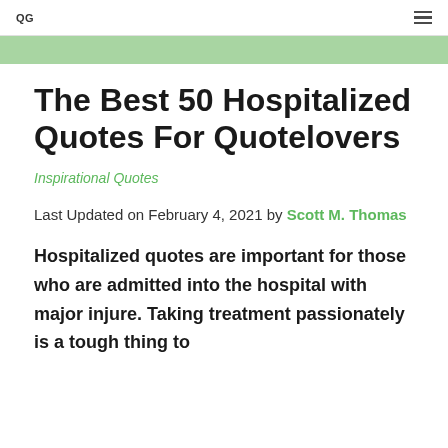QG
The Best 50 Hospitalized Quotes For Quotelovers
Inspirational Quotes
Last Updated on February 4, 2021 by Scott M. Thomas
Hospitalized quotes are important for those who are admitted into the hospital with major injure. Taking treatment passionately is a tough thing to